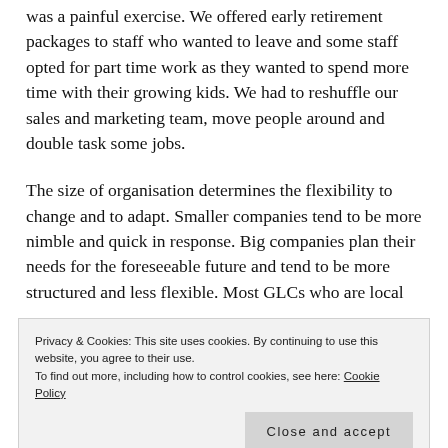was a painful exercise. We offered early retirement packages to staff who wanted to leave and some staff opted for part time work as they wanted to spend more time with their growing kids. We had to reshuffle our sales and marketing team, move people around and double task some jobs.
The size of organisation determines the flexibility to change and to adapt. Smaller companies tend to be more nimble and quick in response. Big companies plan their needs for the foreseeable future and tend to be more structured and less flexible. Most GLCs who are local
Privacy & Cookies: This site uses cookies. By continuing to use this website, you agree to their use. To find out more, including how to control cookies, see here: Cookie Policy
Close and accept
How many companies actually plan for incoming